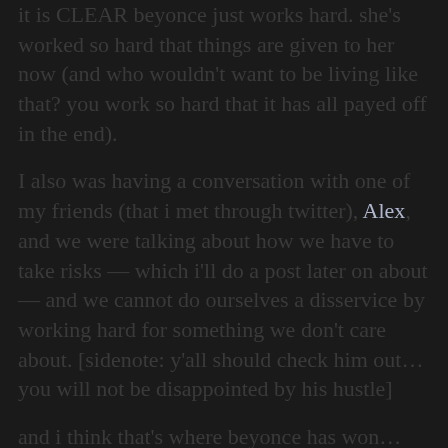it is CLEAR beyonce just works hard. she's worked so hard that things are given to her now (and who wouldn't want to be living like that? you work so hard that it has all payed off in the end).
I also was having a conversation with one of my friends (that i met through twitter), Alex, and we were talking about how we have to take risks — which i'll do a post later on about — and we cannot do ourselves a disservice by working hard for something we don't care about. [sidenote: y'all should check him out… you will not be disappointed by his hustle]
and i think that's where beyonce has won… she found what she was passionate about, had the drive for it, and then ran with it. I think that quite a bit of us, myself included, are working so hard for something that doesn't have any sort of gain for us (a job we hat for example); we haven't found our passion. how can we run with something if we don't even know what